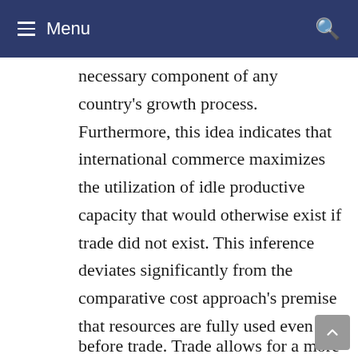Menu
necessary component of any country's growth process. Furthermore, this idea indicates that international commerce maximizes the utilization of idle productive capacity that would otherwise exist if trade did not exist. This inference deviates significantly from the comparative cost approach's premise that resources are fully used even before trade. Trade allows for a more